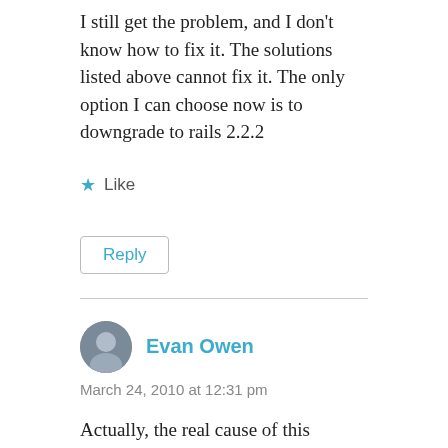I still get the problem, and I don't know how to fix it. The solutions listed above cannot fix it. The only option I can choose now is to downgrade to rails 2.2.2
★ Like
Reply
Evan Owen
March 24, 2010 at 12:31 pm
Actually, the real cause of this problem is that ActiveRecord also defines self.included, and since you're not calling "super" inside your method, ActiveRecord never gets the call and